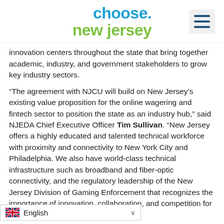[Figure (logo): Choose New Jersey logo with blue 'choose.' text and green 'new jersey' text, and a hamburger menu icon to the right]
innovation centers throughout the state that bring together academic, industry, and government stakeholders to grow key industry sectors.
“The agreement with NJCU will build on New Jersey’s existing value proposition for the online wagering and fintech sector to position the state as an industry hub,” said NJEDA Chief Executive Officer Tim Sullivan. “New Jersey offers a highly educated and talented technical workforce with proximity and connectivity to New York City and Philadelphia. We also have world-class technical infrastructure such as broadband and fiber-optic connectivity, and the regulatory leadership of the New Jersey Division of Gaming Enforcement that recognizes the importance of innovation, collaboration, and competition for a healthy and sustainably-growing ir
English